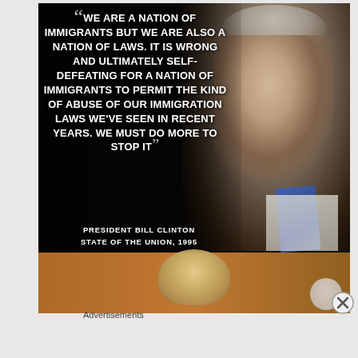[Figure (photo): A dark background image with white bold text displaying a quote attributed to President Bill Clinton from the State of the Union 1995, overlaid on a photo of a man (Bill Clinton) on the right side, and a partial photo of another person at the bottom.]
Advertisements